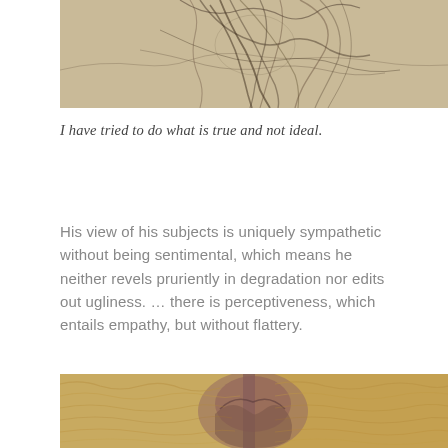[Figure (illustration): Top partial view of a pencil sketch or drawing, showing figure with feathered or flowing lines on a tan/beige background.]
I have tried to do what is true and not ideal.
His view of his subjects is uniquely sympathetic without being sentimental, which means he neither revels pruriently in degradation nor edits out ugliness. … there is perceptiveness, which entails empathy, but without flattery.
[Figure (illustration): Bottom partial view of a colorful painted portrait, showing a figure with swirling brushwork in yellows and purples on a textured background.]